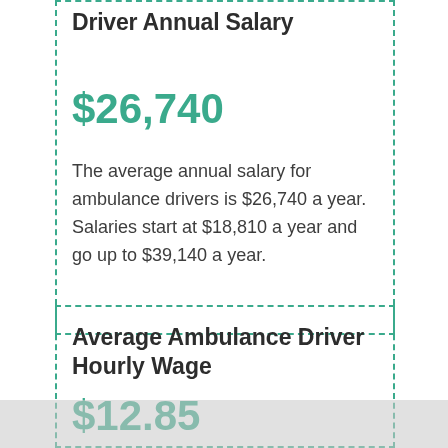Driver Annual Salary
$26,740
The average annual salary for ambulance drivers is $26,740 a year. Salaries start at $18,810 a year and go up to $39,140 a year.
Average Ambulance Driver Hourly Wage
$12.85